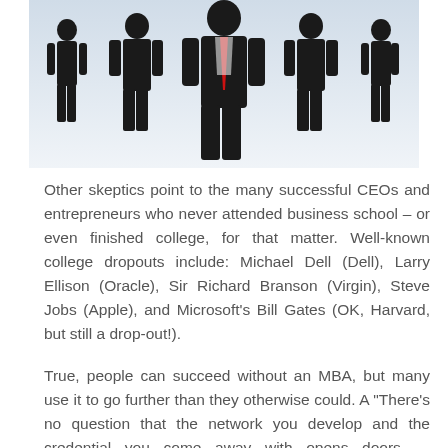[Figure (illustration): Silhouettes of five business people in suits against a light blue-white gradient background. The central figure is larger and wears a red tie, flanked by two figures on each side.]
Other skeptics point to the many successful CEOs and entrepreneurs who never attended business school – or even finished college, for that matter. Well-known college dropouts include: Michael Dell (Dell), Larry Ellison (Oracle), Sir Richard Branson (Virgin), Steve Jobs (Apple), and Microsoft's Bill Gates (OK, Harvard, but still a drop-out!).
True, people can succeed without an MBA, but many use it to go further than they otherwise could. A "There's no question that the network you develop and the credential you come away with opens doors … employers assume that someone who managed to get into an elite school – and pay the tuition – is talented and motivated," Lynn